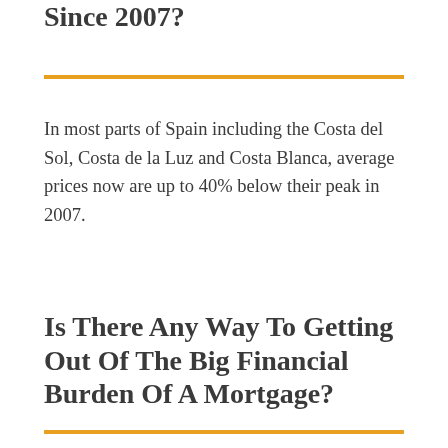Since 2007?
In most parts of Spain including the Costa del Sol, Costa de la Luz and Costa Blanca, average prices now are up to 40% below their peak in 2007.
Is There Any Way To Getting Out Of The Big Financial Burden Of A Mortgage?